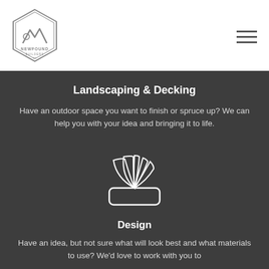Newfound Builders logo and navigation
Landscaping & Decking
Have an outdoor space you want to finish or spruce up? We can help you with your idea and bringing it to life.
[Figure (illustration): White outline icon of a material/color swatch fan deck with a rectangular base, on dark background]
Design
Have an idea, but not sure what will look best and what materials to use? We'd love to work with you to